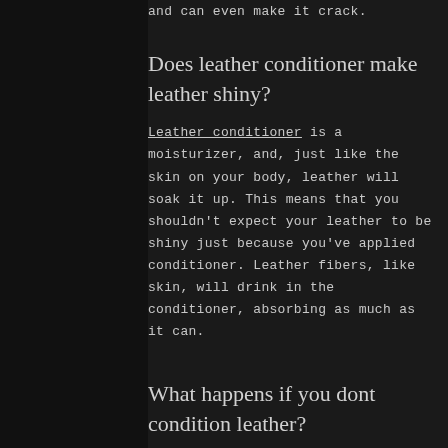and can even make it crack.
Does leather conditioner make leather shiny?
Leather conditioner is a moisturizer, and, just like the skin on your body, leather will soak it up. This means that you shouldn't expect your leather to be shiny just because you've applied conditioner. Leather fibers, like skin, will drink in the conditioner, absorbing as much as it can.
What happens if you dont condition leather?
Leather can dry out and crack